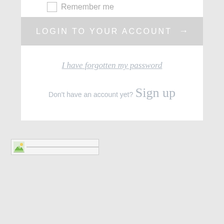Remember me
LOGIN TO YOUR ACCOUNT →
I have forgotten my password
Don't have an account yet? Sign up
[Figure (logo): Broken image placeholder icon with green tones, followed by a long narrow image area]